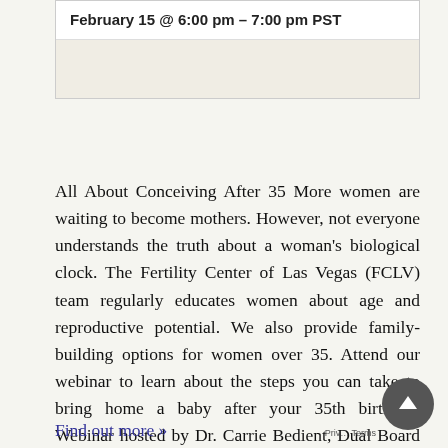| February 15 @ 6:00 pm – 7:00 pm PST |
|  |
All About Conceiving After 35 More women are waiting to become mothers. However, not everyone understands the truth about a woman's biological clock. The Fertility Center of Las Vegas (FCLV) team regularly educates women about age and reproductive potential. We also provide family-building options for women over 35. Attend our webinar to learn about the steps you can take to bring home a baby after your 35th birthday. Webinar hosted by Dr. Carrie Bedient, Dual Board Certified Reproductive Specialist As...
Find out more »